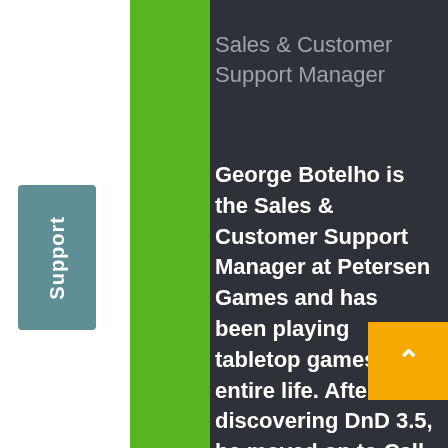Sales & Customer Support Manager
George Botelho is the Sales & Customer Support Manager at Petersen Games and has been playing  tabletop games his entire life. After discovering DnD 3.5, he moved on to Call of Cthulhu, and runs a weekly gaming group. He served 4 years in the Marine Corps as a